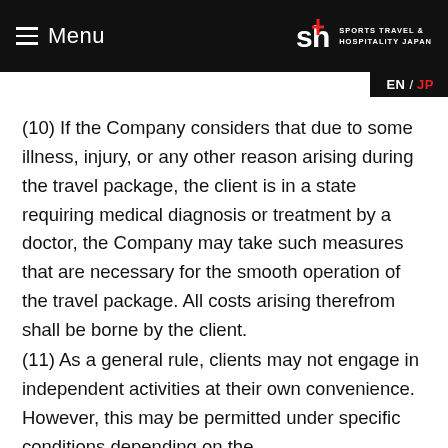Menu | SPORTS TRAVEL & HOSPITALITY JAPAN | EN / JP
(10) If the Company considers that due to some illness, injury, or any other reason arising during the travel package, the client is in a state requiring medical diagnosis or treatment by a doctor, the Company may take such measures that are necessary for the smooth operation of the travel package. All costs arising therefrom shall be borne by the client.
(11) As a general rule, clients may not engage in independent activities at their own convenience. However, this may be permitted under specific conditions depending on the